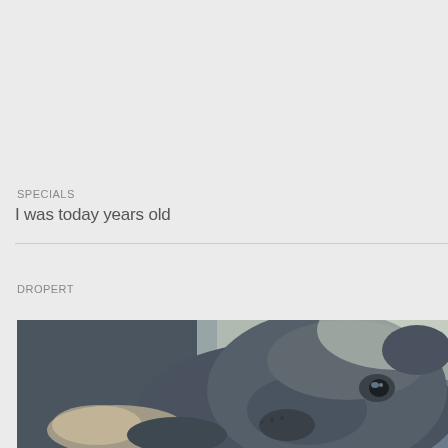SPECIALS
I was today years old
DROPERT
[Figure (photo): Close-up photo of a dark gray/blue dog (appears to be a pit bull type breed) looking at the camera, lying down with a light-colored object nearby, taken with a wide-angle or distorted lens perspective.]